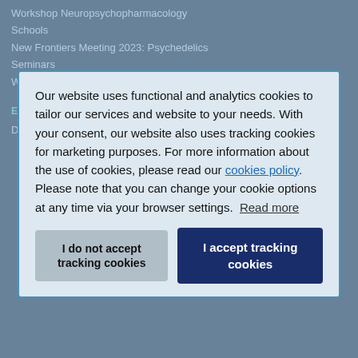Workshop Neuropsychopharmacology
Schools
New Frontiers Meeting 2023: Psychedelics
Seminars
Workshop Clinical Research Methods
EARLY CAREER
Definition Early Career Scientist
Our website uses functional and analytics cookies to tailor our services and website to your needs. With your consent, our website also uses tracking cookies for marketing purposes. For more information about the use of cookies, please read our cookies policy. Please note that you can change your cookie options at any time via your browser settings. Read more
I do not accept tracking cookies
I accept tracking cookies